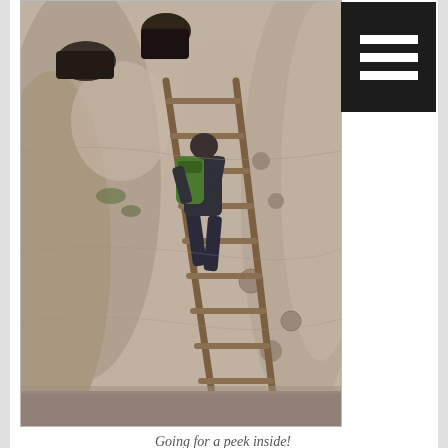[Figure (photo): A person with a green backpack climbing a tall wooden ladder on a sheer rock cliff face with carved cavities and cave dwellings, at Bandelier National Monument.]
Going for a peek inside!
The astonishing highlight of the Main Loop trail is the very long Long House. This is a huge expanse of sheer rock cliff that has dozens of indents and holes in it where the Ancestral Puebloan people anchored their homes.
[Figure (photo): Close-up view of sandstone cliff face with carved holes and indentations from Ancestral Puebloan dwellings at Bandelier National Monument.]